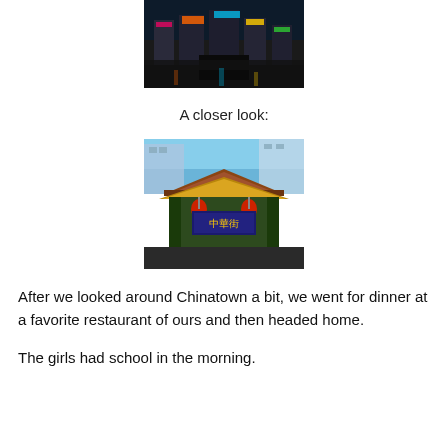[Figure (photo): Night street scene in Chinatown with neon signs and busy street]
A closer look:
[Figure (photo): Close-up of a traditional Chinese gate/arch with ornate decorations and Chinese characters]
After we looked around Chinatown a bit, we went for dinner at a favorite restaurant of ours and then headed home.
The girls had school in the morning.